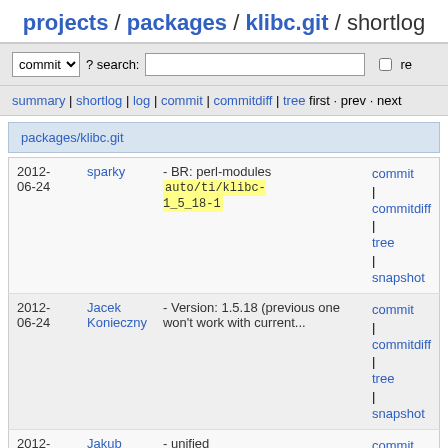projects / packages / klibc.git / shortlog
commit ? search: re
summary | shortlog | log | commit | commitdiff | tree first · prev · next
packages/klibc.git
| date | author | message | links |
| --- | --- | --- | --- |
| 2012-06-24 | sparky | - BR: perl-modules auto/ti/klibc-1_5_18-1 | commit | commitdiff | tree | snapshot |
| 2012-06-24 | Jacek Konieczny | - Version: 1.5.18 (previous one won't work with current... | commit | commitdiff | tree | snapshot |
| 2012-06-24 | Jakub Bogusz | - unified | commit | commitdiff | tree | snapshot |